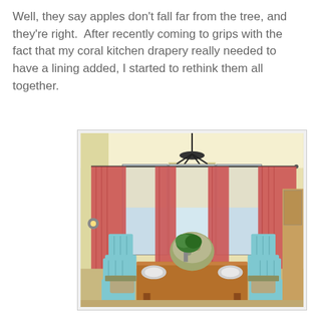Well, they say apples don't fall far from the tree, and they're right.  After recently coming to grips with the fact that my coral kitchen drapery really needed to have a lining added, I started to rethink them all together.
[Figure (photo): Interior dining room photo showing a wooden dining table set for a meal with light blue/turquoise lattice-back chairs, coral/red curtains on bay windows, a floral upholstered chair at the head, a green plant centerpiece, and a black chandelier overhead. The walls are painted a pale yellow.]